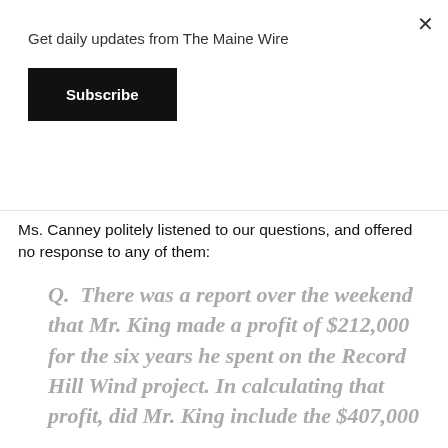Get daily updates from The Maine Wire
Subscribe
Ms. Canney began the conversation by stating: "We've followed Breitbart. We know the angle you're coming from."
Ms. Canney politely listened to our questions, and offered no response to any of them:
Q.  There was a report over the weekend that Mr. King made a profit of $212,000 for the six years he spent on the Record Hill Wind project. In calculating that profit, did Mr. King include the $407,000